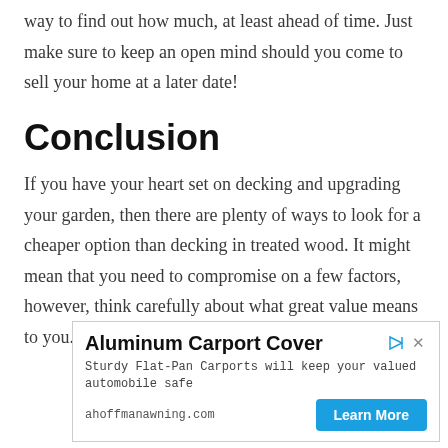way to find out how much, at least ahead of time. Just make sure to keep an open mind should you come to sell your home at a later date!
Conclusion
If you have your heart set on decking and upgrading your garden, then there are plenty of ways to look for a cheaper option than decking in treated wood. It might mean that you need to compromise on a few factors, however, think carefully about what great value means to you.
[Figure (other): Advertisement for Aluminum Carport Cover by ahoffmanawning.com with a Learn More button]